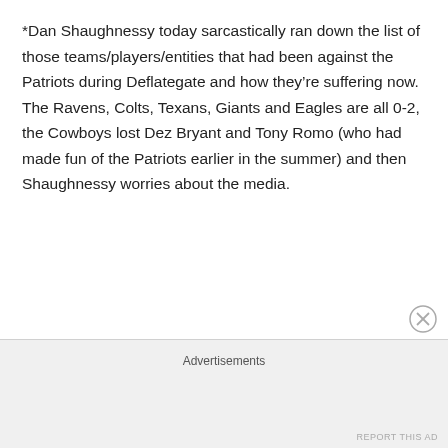*Dan Shaughnessy today sarcastically ran down the list of those teams/players/entities that had been against the Patriots during Deflategate and how they're suffering now. The Ravens, Colts, Texans, Giants and Eagles are all 0-2, the Cowboys lost Dez Bryant and Tony Romo (who had made fun of the Patriots earlier in the summer) and then Shaughnessy worries about the media.
Advertisements